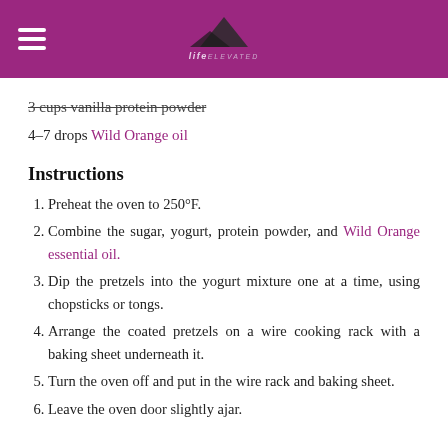Life Elevated (logo)
3 cups vanilla protein powder
4–7 drops Wild Orange oil
Instructions
Preheat the oven to 250°F.
Combine the sugar, yogurt, protein powder, and Wild Orange essential oil.
Dip the pretzels into the yogurt mixture one at a time, using chopsticks or tongs.
Arrange the coated pretzels on a wire cooking rack with a baking sheet underneath it.
Turn the oven off and put in the wire rack and baking sheet.
Leave the oven door slightly ajar.